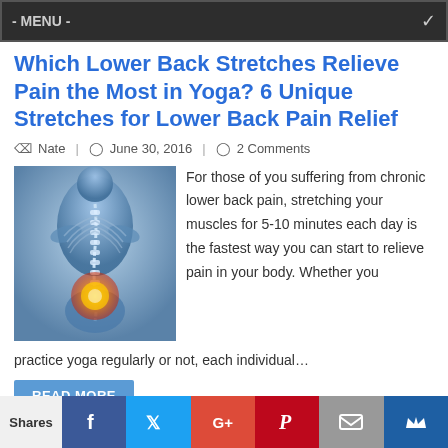- MENU -
Which Lower Back Stretches Relieve Pain the Most in Yoga? 6 Unique Stretches for Lower Back Pain Relief
Nate | June 30, 2016 | 2 Comments
[Figure (illustration): Medical illustration of a human back showing the spine with a glowing red/orange highlight at the lower back area, against a blue-tinted anatomical rendering.]
For those of you suffering from chronic lower back pain, stretching your muscles for 5-10 minutes each day is the fastest way you can start to relieve pain in your body. Whether you practice yoga regularly or not, each individual…
READ MORE
Pain Prevention, Pain
Pain Prevention, Routines
Shares | Facebook | Twitter | G+ | Pinterest | Email | Crown